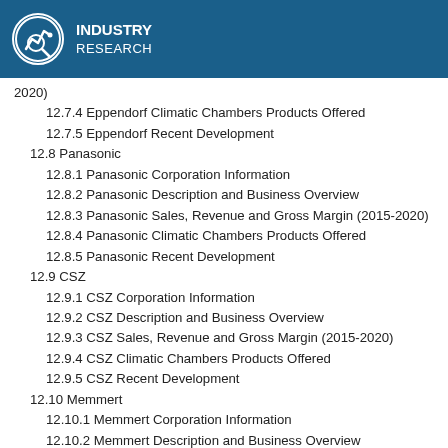Industry Research
2020)
12.7.4 Eppendorf Climatic Chambers Products Offered
12.7.5 Eppendorf Recent Development
12.8 Panasonic
12.8.1 Panasonic Corporation Information
12.8.2 Panasonic Description and Business Overview
12.8.3 Panasonic Sales, Revenue and Gross Margin (2015-2020)
12.8.4 Panasonic Climatic Chambers Products Offered
12.8.5 Panasonic Recent Development
12.9 CSZ
12.9.1 CSZ Corporation Information
12.9.2 CSZ Description and Business Overview
12.9.3 CSZ Sales, Revenue and Gross Margin (2015-2020)
12.9.4 CSZ Climatic Chambers Products Offered
12.9.5 CSZ Recent Development
12.10 Memmert
12.10.1 Memmert Corporation Information
12.10.2 Memmert Description and Business Overview
12.10.3 Memmert Sales, Revenue and Gross Margin (2015-